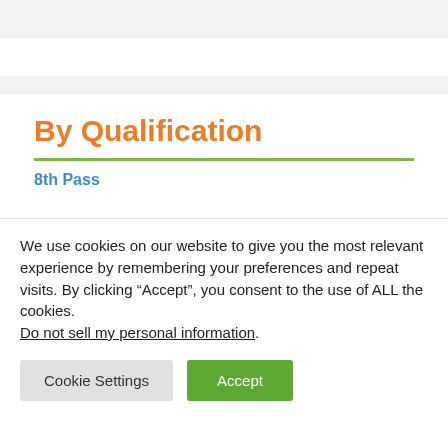By Qualification
8th Pass
We use cookies on our website to give you the most relevant experience by remembering your preferences and repeat visits. By clicking “Accept”, you consent to the use of ALL the cookies.
Do not sell my personal information.